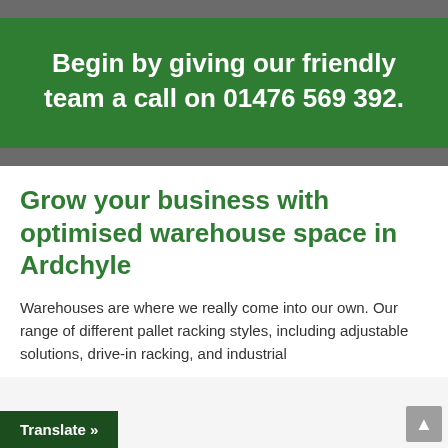Begin by giving our friendly team a call on 01476 569 392.
Grow your business with optimised warehouse space in Ardchyle
Warehouses are where we really come into our own. Our range of different pallet racking styles, including adjustable solutions, drive-in racking, and industrial